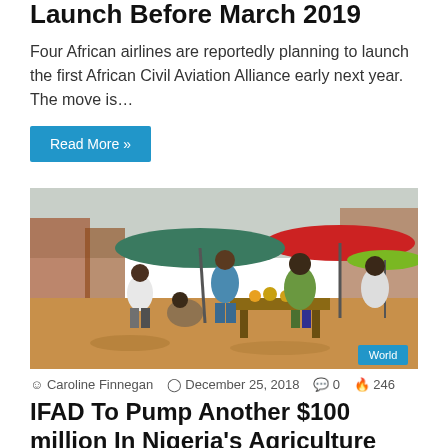Launch Before March 2019
Four African airlines are reportedly planning to launch the first African Civil Aviation Alliance early next year. The move is…
Read More »
[Figure (photo): Outdoor African market scene with vendors and shoppers under colorful umbrellas, red and green umbrellas visible, sandy ground, stalls with produce]
Caroline Finnegan  December 25, 2018  0  246
IFAD To Pump Another $100 million In Nigeria's Agriculture Sector In 2019 Post